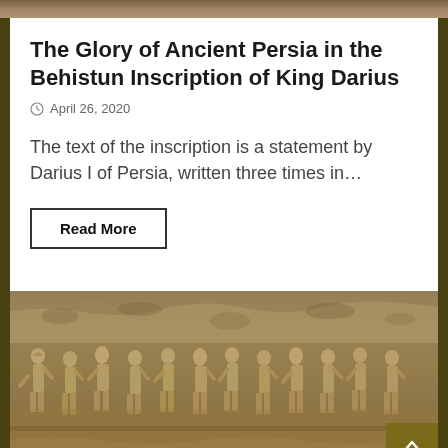[Figure (photo): Top strip showing stone/rock texture image partially visible]
The Glory of Ancient Persia in the Behistun Inscription of King Darius
April 26, 2020
The text of the inscription is a statement by Darius I of Persia, written three times in…
Read More
[Figure (photo): Stone bas-relief carving showing rows of ancient Persian figures in procession, wearing traditional attire, carved into rock face]